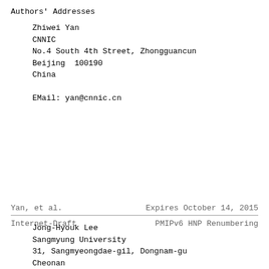Authors' Addresses
Zhiwei Yan
CNNIC
No.4 South 4th Street, Zhongguancun
Beijing  100190
China

EMail: yan@cnnic.cn
Yan, et al.                    Expires October 14, 2015
Internet-Draft             PMIPv6 HNP Renumbering
Jong-Hyouk Lee
Sangmyung University
31, Sangmyeongdae-gil, Dongnam-gu
Cheonan